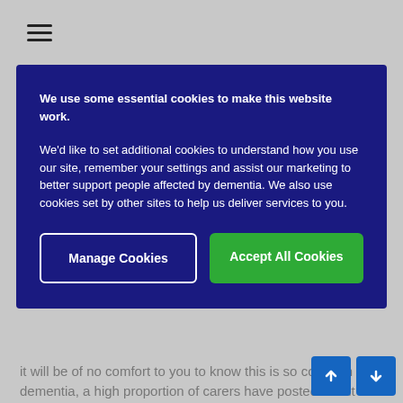Navigation menu (hamburger icon)
We use some essential cookies to make this website work.
We'd like to set additional cookies to understand how you use our site, remember your settings and assist our marketing to better support people affected by dementia. We also use cookies set by other sites to help us deliver services to you.
Manage Cookies | Accept All Cookies
it will be of no comfort to you to know this is so common with dementia, a high proportion of carers have posted about the same 'going home' problem.
It usually happens late afternoon or early evening and is called sundowning. The person with dementia is often more tired at this time of day and the confusion increases.
Trying to convince your mum she is already at home is not likely to work.